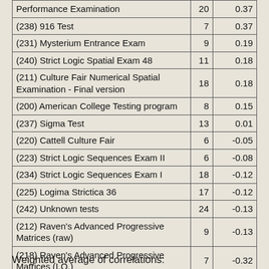| Test Name | N | r |
| --- | --- | --- |
| Performance Examination | 20 | 0.37 |
| (238) 916 Test | 7 | 0.37 |
| (231) Mysterium Entrance Exam | 9 | 0.19 |
| (240) Strict Logic Spatial Exam 48 | 11 | 0.18 |
| (211) Culture Fair Numerical Spatial Examination - Final version | 18 | 0.18 |
| (200) American College Testing program | 8 | 0.15 |
| (237) Sigma Test | 13 | 0.01 |
| (220) Cattell Culture Fair | 6 | -0.05 |
| (223) Strict Logic Sequences Exam II | 6 | -0.08 |
| (234) Strict Logic Sequences Exam I | 18 | -0.12 |
| (225) Logima Strictica 36 | 17 | -0.12 |
| (242) Unknown tests | 24 | -0.13 |
| (212) Raven's Advanced Progressive Matrices (raw) | 9 | -0.13 |
| (218) Raven's Advanced Progressive Matrices (I.Q.) | 7 | -0.32 |
Weighted average of correlations: